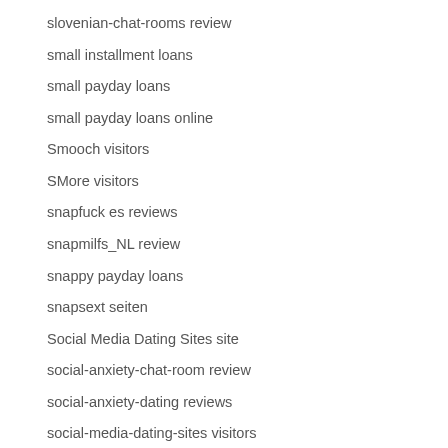slovenian-chat-rooms review
small installment loans
small payday loans
small payday loans online
Smooch visitors
SMore visitors
snapfuck es reviews
snapmilfs_NL review
snappy payday loans
snapsext seiten
Social Media Dating Sites site
social-anxiety-chat-room review
social-anxiety-dating reviews
social-media-dating-sites visitors
soulmates avis